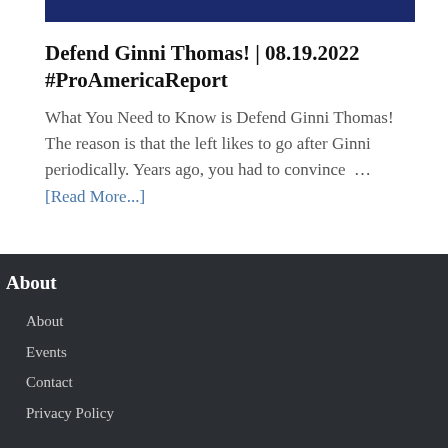[Figure (other): Dark navy blue horizontal banner/header bar]
Defend Ginni Thomas! | 08.19.2022 #ProAmericaReport
What You Need to Know is Defend Ginni Thomas! The reason is that the left likes to go after Ginni periodically. Years ago, you had to convince … [Read More...]
About
About
Events
Contact
Privacy Policy